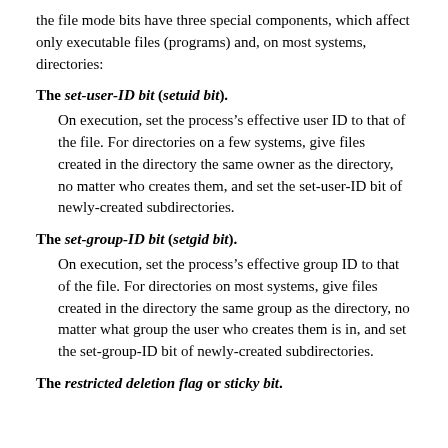the file mode bits have three special components, which affect only executable files (programs) and, on most systems, directories:
The set-user-ID bit (setuid bit).
On execution, set the process’s effective user ID to that of the file. For directories on a few systems, give files created in the directory the same owner as the directory, no matter who creates them, and set the set-user-ID bit of newly-created subdirectories.
The set-group-ID bit (setgid bit).
On execution, set the process’s effective group ID to that of the file. For directories on most systems, give files created in the directory the same group as the directory, no matter what group the user who creates them is in, and set the set-group-ID bit of newly-created subdirectories.
The restricted deletion flag or sticky bit.